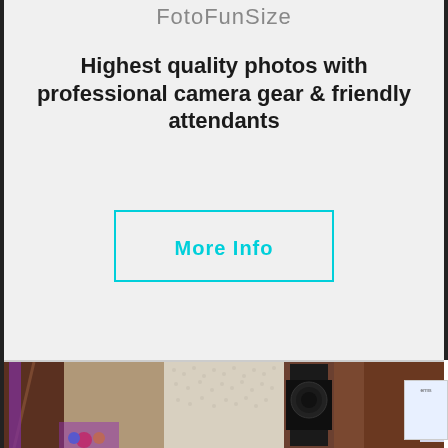FotoFunSize
Highest quality photos with professional camera gear & friendly attendants
More Info
[Figure (photo): Photo booth scene showing a silhouette of a camera/booth device in front of a sequined backdrop, with colorful decorations visible at lower left]